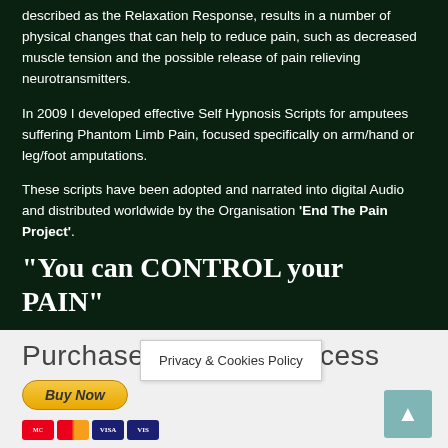described as the Relaxation Response, results in a number of physical changes that can help to reduce pain, such as decreased muscle tension and the possible release of pain relieving neurotransmitters.
In 2009 I developed effective Self Hypnosis Scripts for amputees suffering Phantom Limb Pain, focused specifically on arm/hand or leg/foot amputations.
These scripts have been adopted and narrated into digital Audio and distributed worldwide by the Organisation 'End The Pain Project'.
“You can CONTROL your PAIN”
Purchase Payment Process
[Figure (other): Buy Now PayPal button]
[Figure (other): Credit card icons: Mastercard, Mastercard, VISA, VISA]
Privacy & Cookies Policy